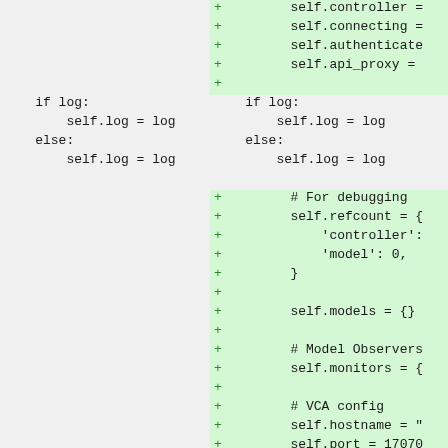[Figure (screenshot): A code diff view showing two columns. Left column shows original code with context lines for if/else log assignment. Right column shows added lines (green background) including self.controller, self.connecting, self.authenticate, self.api_proxy assignments, then the same if/else log block, followed by more added lines for debugging refcount dict, self.models, model observers, self.monitors, VCA config with self.hostname and self.port.]